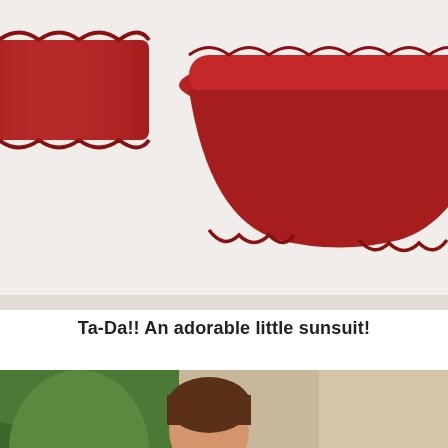[Figure (photo): Red children's sunsuit clothing items (top and bloomers/shorts) laid flat on a white background. The garments are deep red/crimson with ruffled edges.]
Ta-Da!! An adorable little sunsuit!
[Figure (photo): A toddler girl wearing a red smocked halter dress with ruffled hem and white embroidery detail at the chest. She is photographed from behind/side outdoors with green plants and a concrete/brick background visible.]